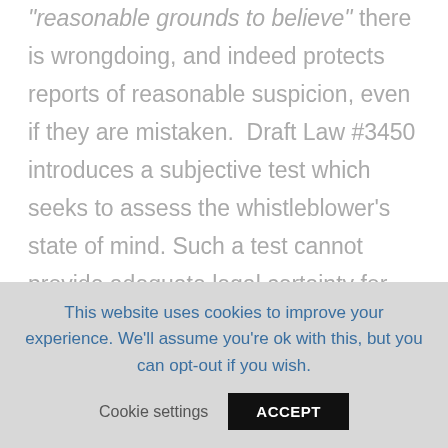"reasonable grounds to believe" there is wrongdoing, and indeed protects reports of reasonable suspicion, even if they are mistaken.  Draft Law #3450 introduces a subjective test which seeks to assess the whistleblower's state of mind. Such a test cannot provide adequate legal certainty for those considering whether or not to report corruption.  It is also
This website uses cookies to improve your experience. We'll assume you're ok with this, but you can opt-out if you wish.
Cookie settings   ACCEPT